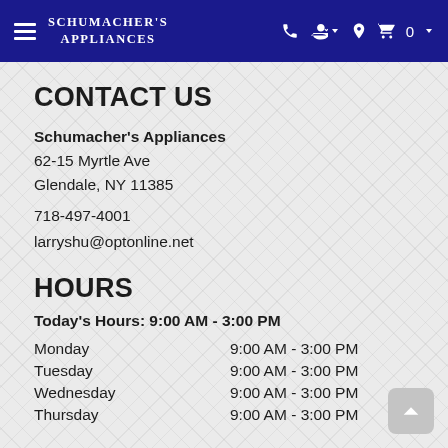Schumacher's Appliances
CONTACT US
Schumacher's Appliances
62-15 Myrtle Ave
Glendale, NY 11385
718-497-4001
larryshu@optonline.net
HOURS
Today's Hours: 9:00 AM - 3:00 PM
Monday   9:00 AM - 3:00 PM
Tuesday   9:00 AM - 3:00 PM
Wednesday   9:00 AM - 3:00 PM
Thursday   9:00 AM - 3:00 PM